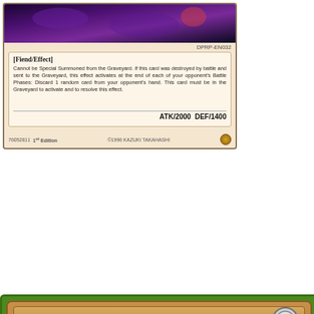[Figure (photo): Top portion of a Yu-Gi-Oh trading card showing artwork at top and effect text box with card code DPRP-EN032]
[FIEND/EFFECT]
Cannot be Special Summoned from the Graveyard. If this card was destroyed by battle and sent to the Graveyard, this effect activates at the end of each of your opponent's Battle Phases: Discard 1 random card from your opponent's hand. This card must be in the Graveyard to activate and to resolve this effect.
ATK/2000  DEF/1400
76052811  1st Edition  ©1996 KAZUKI TAKAHASHI
[Figure (photo): Yu-Gi-Oh card: Silent Swordsman LV7, a Light attribute warrior monster with 7 stars, showing a warrior figure with a large sword surrounded by sparkles on a red background]